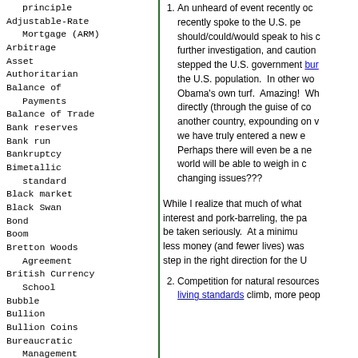principle
Adjustable-Rate Mortgage (ARM)
Arbitrage
Asset
Authoritarian
Balance of Payments
Balance of Trade
Bank reserves
Bank run
Bankruptcy
Bimetallic standard
Black market
Black Swan
Bond
Boom
Bretton Woods Agreement
British Currency School
Bubble
Bullion
Bullion Coins
Bureaucratic Management
Business cycle
Business Plan
Capital
Capital goods
Capitalism
Cash Flow
Catallactics
Central Bank
Central Bank Credits
Cheap Money
1. An unheard of event recently occurred... recently spoke to the U.S. pe... should/could/would speak to his c... further investigation, and caution... stepped the U.S. government bur... the U.S. population. In other wo... Obama's own turf. Amazing! Wh... directly (through the guise of co... another country, expounding on v... we have truly entered a new e... Perhaps there will even be a ne... world will be able to weigh in c... changing issues???
While I realize that much of what... interest and pork-barreling, the pa... be taken seriously. At a minimu... less money (and fewer lives) was... step in the right direction for the U...
2. Competition for natural resources... living standards climb, more peo...